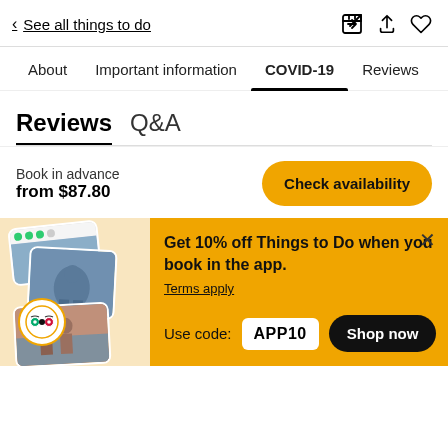< See all things to do
About  Important information  COVID-19  Reviews
Reviews  Q&A
Book in advance
from $87.80
Check availability
[Figure (screenshot): Promotional photo cards with TripAdvisor badge]
Get 10% off Things to Do when you book in the app.
Terms apply
Use code: APP10
Shop now